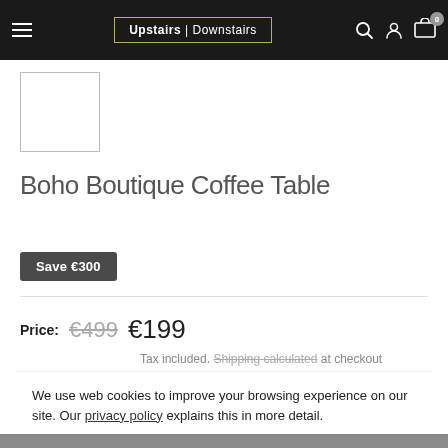Upstairs | Downstairs
[Figure (photo): Product thumbnail image placeholder — white square with gray border]
Boho Boutique Coffee Table
Save €300
Price: €499 €199
Tax included. Shipping calculated at checkout
We use web cookies to improve your browsing experience on our site. Our privacy policy explains this in more detail.
ok